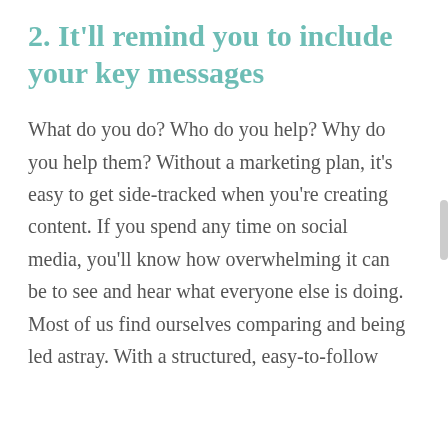2. It'll remind you to include your key messages
What do you do? Who do you help? Why do you help them? Without a marketing plan, it's easy to get side-tracked when you're creating content. If you spend any time on social media, you'll know how overwhelming it can be to see and hear what everyone else is doing. Most of us find ourselves comparing and being led astray. With a structured, easy-to-follow